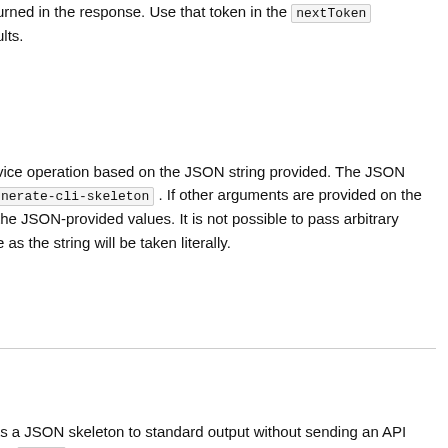urned in the response. Use that token in the nextToken parameter to retrieve the next set of results.
vice operation based on the JSON string provided. The JSON string follows the format provided by --generate-cli-skeleton. If other arguments are provided on the command line, the CLI values will override the JSON-provided values. It is not possible to pass arbitrary binary values using a JSON-provided value as the string will be taken literally.
ts a JSON skeleton to standard output without sending an API request. If provided with the value input , prints a sample input JSON that can be used as an argument for --cli-input-json. If provided with the value output , it validates the command inputs and returns a sample output JSON for that command.